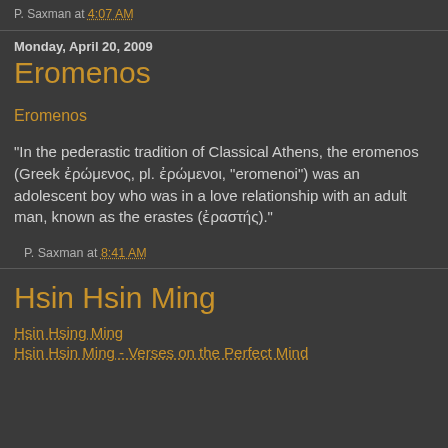P. Saxman at 4:07 AM
Monday, April 20, 2009
Eromenos
Eromenos
"In the pederastic tradition of Classical Athens, the eromenos (Greek ἐρώμενος, pl. ἐρώμενοι, "eromenoi") was an adolescent boy who was in a love relationship with an adult man, known as the erastes (ἐραστής)."
P. Saxman at 8:41 AM
Hsin Hsin Ming
Hsin Hsing Ming
Hsin Hsin Ming - Verses on the Perfect Mind